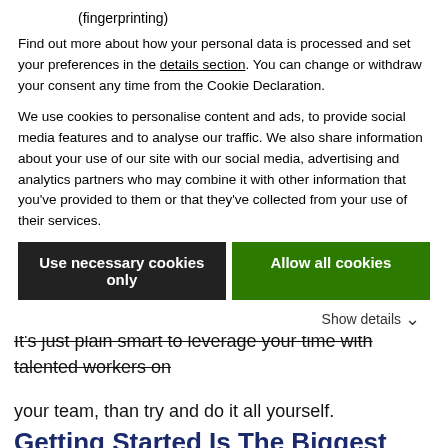(fingerprinting)
Find out more about how your personal data is processed and set your preferences in the details section. You can change or withdraw your consent any time from the Cookie Declaration.
We use cookies to personalise content and ads, to provide social media features and to analyse our traffic. We also share information about your use of our site with our social media, advertising and analytics partners who may combine it with other information that you've provided to them or that they've collected from your use of their services.
Use necessary cookies only
Allow all cookies
Show details
It's just plain smart to leverage your time with talented workers on your team, than try and do it all yourself.
Getting Started Is The Biggest Hurdle
However, from speaking with hundreds and hundreds of entrepreneurs over the last couple of years on the subject, the biggest reason why they procrastinate and not pull the trigger